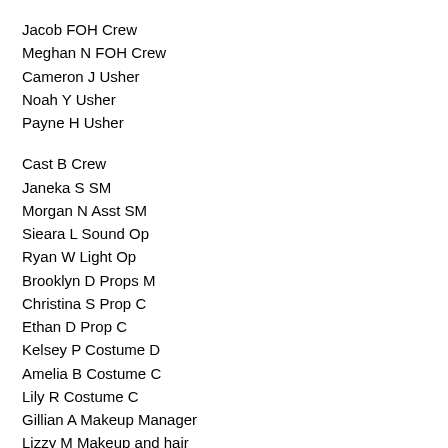Jacob FOH Crew
Meghan N FOH Crew
Cameron J Usher
Noah Y Usher
Payne H Usher
Cast B Crew
Janeka S SM
Morgan N Asst SM
Sieara L Sound Op
Ryan W Light Op
Brooklyn D Props M
Christina S Prop C
Ethan D Prop C
Kelsey P Costume D
Amelia B Costume C
Lily R Costume C
Gillian A Makeup Manager
Lizzy M Makeup and hair